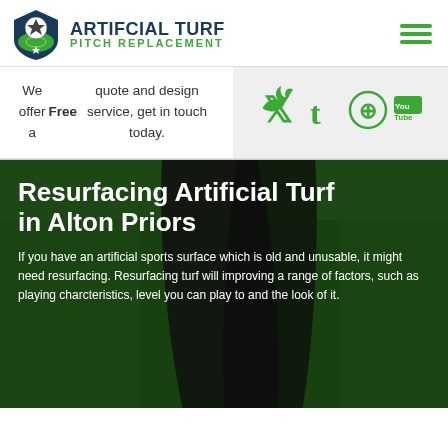[Figure (logo): Artificial Turf Pitch Replacement logo with soccer ball icon]
We offer a Free quote and design service, get in touch today.
[Figure (infographic): Social media icons: Twitter, Tumblr, Pinterest, YouTube in green on grey background]
Resurfacing Artificial Turf in Alton Priors
If you have an artificial sports surface which is old and unusable, it might need resurfacing. Resurfacing turf will improving a range of factors, such as playing charcteristics, level you can play to and the look of it.